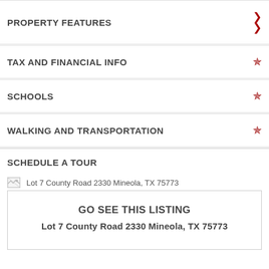PROPERTY FEATURES
TAX AND FINANCIAL INFO
SCHOOLS
WALKING AND TRANSPORTATION
SCHEDULE A TOUR
[Figure (photo): Broken image placeholder for Lot 7 County Road 2330 Mineola, TX 75773]
Lot 7 County Road 2330 Mineola, TX 75773
GO SEE THIS LISTING
Lot 7 County Road 2330 Mineola, TX 75773